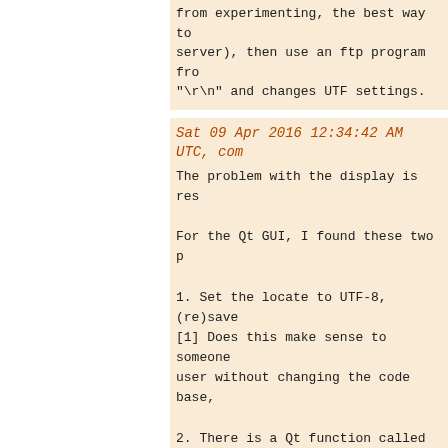from experimenting, the best way to server), then use an ftp program fro "\r\n" and changes UTF settings.
Sat 09 Apr 2016 12:34:42 AM UTC, com
The problem with the display is res
For the Qt GUI, I found these two p
1. Set the locate to UTF-8, (re)save [1] Does this make sense to someone user without changing the code base,
2. There is a Qt function called se interpretation across the GUI? If t
Could someone with experience in Qt
[1]: https://wiki.qt.io/Strings_and_ [2]: http://doc.qt.io/qt-4.8/qtextco
The problem with entering an umlaut
Fri 08 Apr 2016 06:31:42 AM UTC, com
to comment #21:
In notepad++ and the Octave GUI edi
In cmd.exe with the default code pa C:\Users\lorenz.m\octave>type test